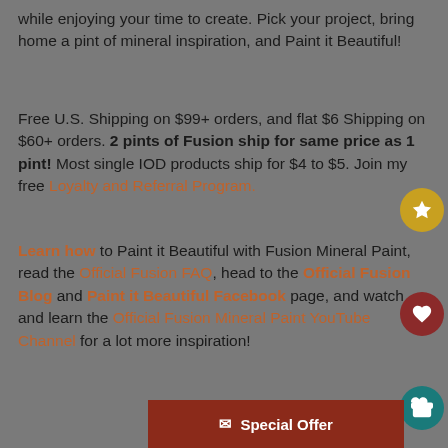while enjoying your time to create. Pick your project, bring home a pint of mineral inspiration, and Paint it Beautiful!
Free U.S. Shipping on $99+ orders, and flat $6 Shipping on $60+ orders. 2 pints of Fusion ship for same price as 1 pint! Most single IOD products ship for $4 to $5. Join my free Loyalty and Referral Program.
Learn how to Paint it Beautiful with Fusion Mineral Paint, read the Official Fusion FAQ, head to the Official Fusion Blog and Paint it Beautiful Facebook page, and watch and learn the Official Fusion Mineral Paint YouTube Channel for a lot more inspiration!